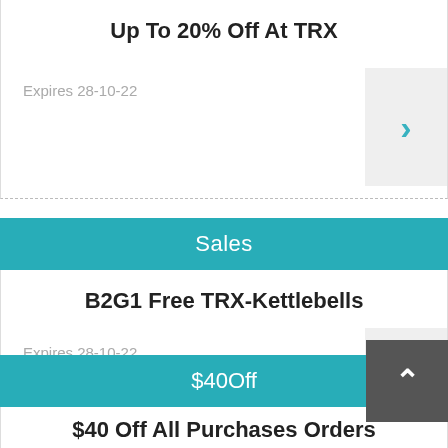Up To 20% Off At TRX
Expires 28-10-22
Sales
B2G1 Free TRX-Kettlebells
Expires 28-10-22
$40Off
$40 Off All Purchases Orders
Expires 27-11-22